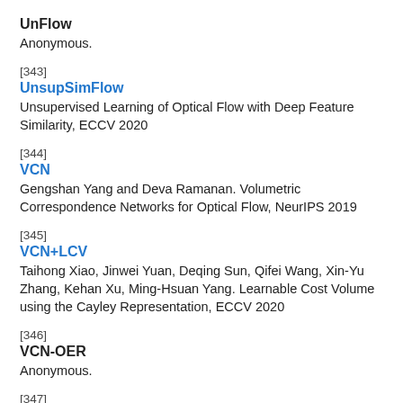UnFlow
Anonymous.
[343]
UnsupSimFlow
Unsupervised Learning of Optical Flow with Deep Feature Similarity, ECCV 2020
[344]
VCN
Gengshan Yang and Deva Ramanan. Volumetric Correspondence Networks for Optical Flow, NeurIPS 2019
[345]
VCN+LCV
Taihong Xiao, Jinwei Yuan, Deqing Sun, Qifei Wang, Xin-Yu Zhang, Kehan Xu, Ming-Hsuan Yang. Learnable Cost Volume using the Cayley Representation, ECCV 2020
[346]
VCN-OER
Anonymous.
[347]
VCN-WARP